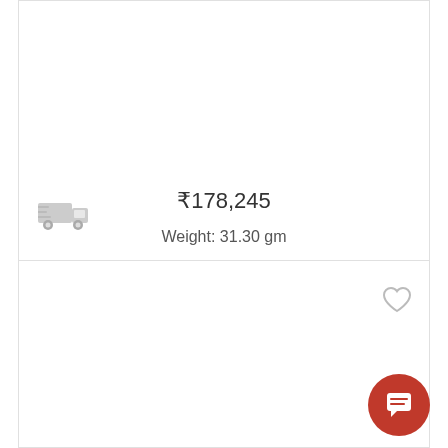[Figure (screenshot): E-commerce product listing screenshot showing price ₹178,245 and weight 31.30 gm with a delivery truck icon, heart/wishlist icon, and red chat button]
₹178,245
Weight: 31.30 gm